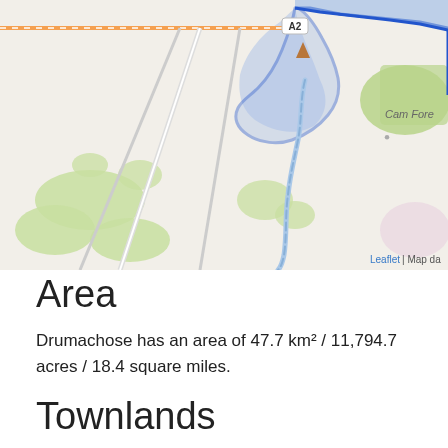[Figure (map): Map showing the Drumachose area with a blue outlined and shaded region indicating the townland boundary. The map shows roads including A2, green forested areas, a winding river/stream, location markers (orange triangles), and labels including 'Cam Fore' and 'ermore est'. The area is rendered in a typical OpenStreetMap tile style with blue boundary overlay.]
Area
Drumachose has an area of 47.7 km² / 11,794.7 acres / 18.4 square miles.
Townlands
There are 37 townlands that we know about in Drumachose. This represents 100% of all the area in Drumachose.
Ard an Gharbháin (see Ardgarvan (Ard an Gharbháin).